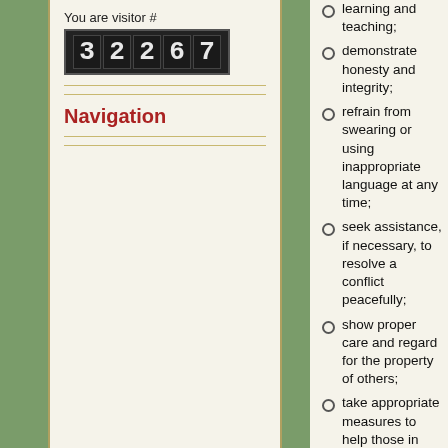You are visitor #
[Figure (other): Visitor counter showing number 32267 in digital display style]
Navigation
learning and teaching;
demonstrate honesty and integrity;
refrain from swearing or using inappropriate language at any time;
seek assistance, if necessary, to resolve a conflict peacefully;
show proper care and regard for the property of others;
take appropriate measures to help those in need;
respect and